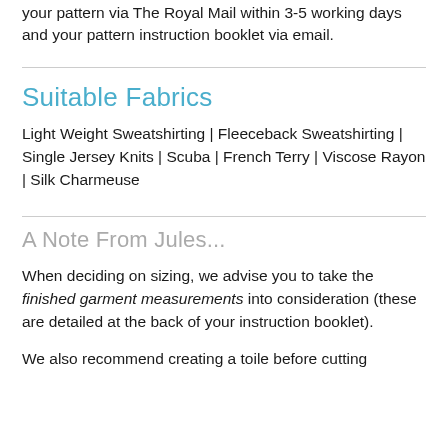your pattern via The Royal Mail within 3-5 working days and your pattern instruction booklet via email.
Suitable Fabrics
Light Weight Sweatshirting | Fleeceback Sweatshirting | Single Jersey Knits | Scuba | French Terry | Viscose Rayon | Silk Charmeuse
A Note From Jules...
When deciding on sizing, we advise you to take the finished garment measurements into consideration (these are detailed at the back of your instruction booklet).
We also recommend creating a toile before cutting